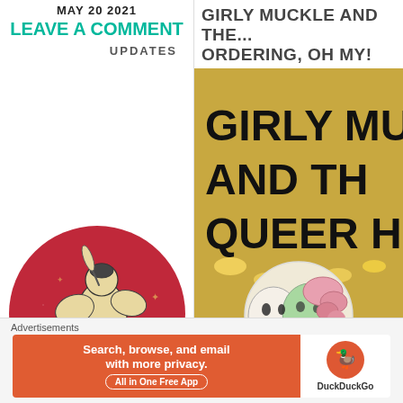MAY 20 2021
LEAVE A COMMENT
UPDATES
[Figure (logo): Problematic Press logo: red circle with illustrated griffin/eagle creature holding a feather and ink pot, text 'Problematic Press' along bottom arc, gold stars]
GIRLY MUCKLE AND THE... ORDERING, OH MY!
[Figure (photo): Book cover for 'Girly Mucky and the Queer Ha...' showing illustrated cartoon characters with string lights background]
Advertisements
[Figure (screenshot): DuckDuckGo advertisement banner: 'Search, browse, and email with more privacy. All in One Free App' with DuckDuckGo logo on orange/white background]